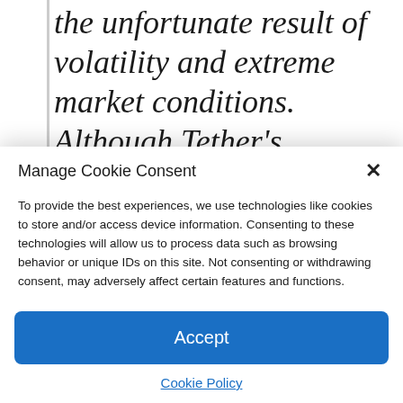the unfortunate result of volatility and extreme market conditions. Although Tether's investment portfolio includes an investment in the company, representing a minimal portion of our own funds. there is no
Manage Cookie Consent
To provide the best experiences, we use technologies like cookies to store and/or access device information. Consenting to these technologies will allow us to process data such as browsing behavior or unique IDs on this site. Not consenting or withdrawing consent, may adversely affect certain features and functions.
Accept
Cookie Policy